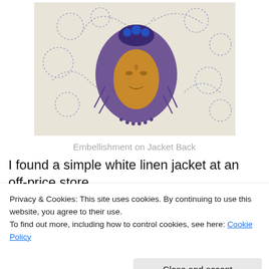[Figure (photo): A decorative brooch or embellishment featuring a carved amber/orange face surrounded by intricate purple/blue beadwork, displayed on a white embroidered fabric background with blue circular patterns.]
Embellishment on Jacket Back
I found a simple white linen jacket at an off-price store.
The jacket had great lines, including a rounded back yoke.
Privacy & Cookies: This site uses cookies. By continuing to use this website, you agree to their use.
To find out more, including how to control cookies, see here: Cookie Policy
Close and accept